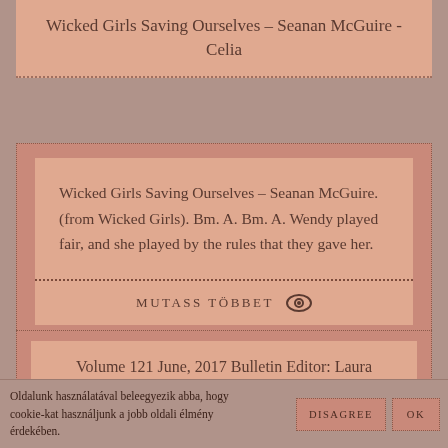Wicked Girls Saving Ourselves – Seanan McGuire - Celia
Wicked Girls Saving Ourselves – Seanan McGuire. (from Wicked Girls). Bm. A. Bm. A. Wendy played fair, and she played by the rules that they gave her.
MUTASS TÖBBET
Volume 121 June, 2017 Bulletin Editor: Laura McGuire; 312 ...
Oldalunk használatával beleegyezik abba, hogy cookie-kat használjunk a jobb oldali élmény érdekében.
DISAGREE
OK